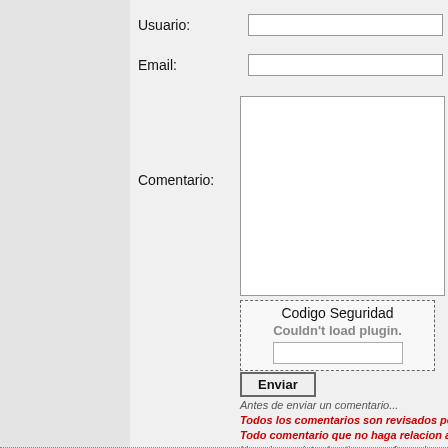Usuario:
Email:
Comentario:
[Figure (screenshot): Codigo Seguridad CAPTCHA box with dashed border showing 'Couldn't load plugin.' message and an input field below it]
Enviar
Antes de enviar un comentario...
Todos los comentarios son revisados personalmente...
Todo comentario que no haga relacion al codigo n...
Usuarios registrados tienen preferencia en recibir resp...
Ademas de poder insertar Imagenes,Enlaces y otras p...
Por favor, insertar los comentarios descriptivos.